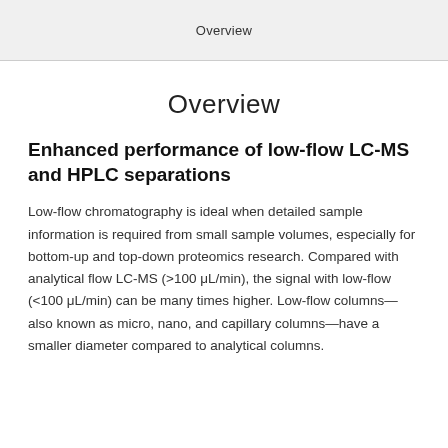Overview
Overview
Enhanced performance of low-flow LC-MS and HPLC separations
Low-flow chromatography is ideal when detailed sample information is required from small sample volumes, especially for bottom-up and top-down proteomics research. Compared with analytical flow LC-MS (>100 μL/min), the signal with low-flow (<100 μL/min) can be many times higher. Low-flow columns—also known as micro, nano, and capillary columns—have a smaller diameter compared to analytical columns.